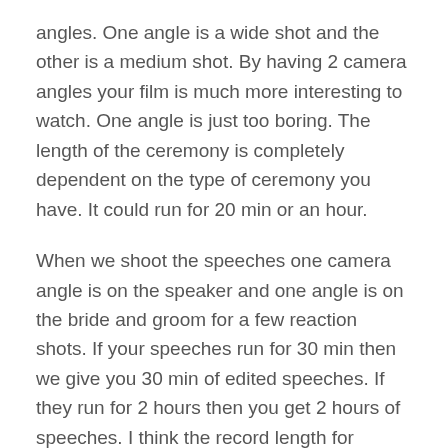angles. One angle is a wide shot and the other is a medium shot. By having 2 camera angles your film is much more interesting to watch. One angle is just too boring. The length of the ceremony is completely dependent on the type of ceremony you have. It could run for 20 min or an hour.
When we shoot the speeches one camera angle is on the speaker and one angle is on the bride and groom for a few reaction shots. If your speeches run for 30 min then we give you 30 min of edited speeches. If they run for 2 hours then you get 2 hours of speeches. I think the record length for speeches I had was 3 and half hours. That's a bit much (please don't do that).
The last thing in your package would be your music video. This is my favorite part to edit as it shows off the best of the best of the day in a few minutes so you can share it with